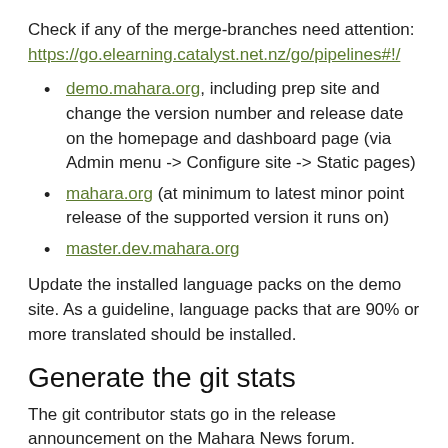Check if any of the merge-branches need attention: https://go.elearning.catalyst.net.nz/go/pipelines#!/
demo.mahara.org, including prep site and change the version number and release date on the homepage and dashboard page (via Admin menu -> Configure site -> Static pages)
mahara.org (at minimum to latest minor point release of the supported version it runs on)
master.dev.mahara.org
Update the installed language packs on the demo site. As a guideline, language packs that are 90% or more translated should be installed.
Generate the git stats
The git contributor stats go in the release announcement on the Mahara News forum.